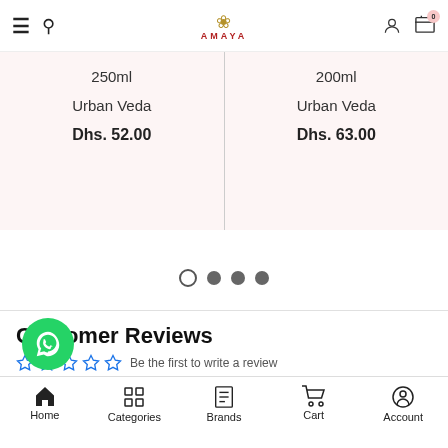AMAYA — navigation header with hamburger, search, logo, account, cart (0)
250ml
Urban Veda
Dhs. 52.00
200ml
Urban Veda
Dhs. 63.00
[Figure (other): Carousel pagination dots: 1 empty circle followed by 3 filled grey circles]
Customer Reviews
☆☆☆☆☆  Be the first to write a review
Write a review
[Figure (other): WhatsApp floating button (green circle with phone handset icon)]
Home  Categories  Brands  Cart  Account